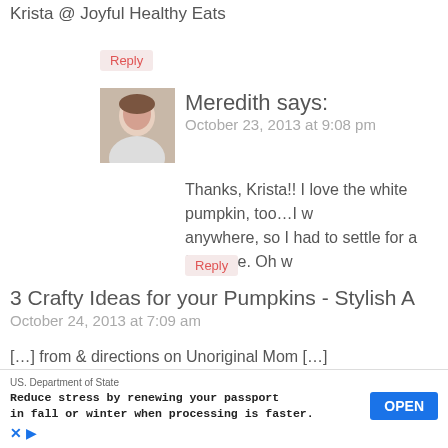Krista @ Joyful Healthy Eats
Reply
[Figure (photo): Avatar photo of Meredith, a woman with brown hair]
Meredith says:
October 23, 2013 at 9:08 pm
Thanks, Krista!! I love the white pumpkin, too…I w anywhere, so I had to settle for a fake one. Oh w
Reply
3 Crafty Ideas for your Pumpkins - Stylish A
October 24, 2013 at 7:09 am
[…] from & directions on Unoriginal Mom […]
Reply
[Figure (logo): The Pin Junkie circular logo with red border]
Bonnie @ The Pin Junkie says:
October 24, 2013 at 10:35 am
This is a great Halloween project! Thanks for sharing
US. Department of State
Reduce stress by renewing your passport in fall or winter when processing is faster.
OPEN